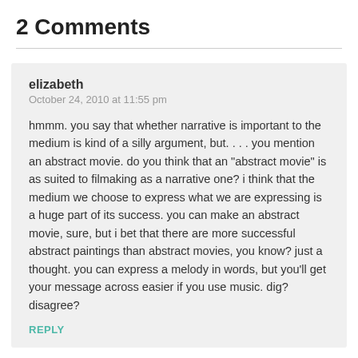2 Comments
elizabeth
October 24, 2010 at 11:55 pm

hmmm. you say that whether narrative is important to the medium is kind of a silly argument, but. . . . you mention an abstract movie. do you think that an "abstract movie" is as suited to filmaking as a narrative one? i think that the medium we choose to express what we are expressing is a huge part of its success. you can make an abstract movie, sure, but i bet that there are more successful abstract paintings than abstract movies, you know? just a thought. you can express a melody in words, but you'll get your message across easier if you use music. dig? disagree?
REPLY